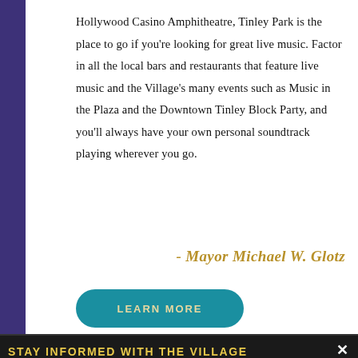Hollywood Casino Amphitheatre, Tinley Park is the place to go if you're looking for great live music. Factor in all the local bars and restaurants that feature live music and the Village's many events such as Music in the Plaza and the Downtown Tinley Block Party, and you'll always have your own personal soundtrack playing wherever you go.
- Mayor Michael W. Glotz
LEARN MORE
STAY INFORMED WITH THE VILLAGE
Subscribe to the Community Email and receive the latest news about your Village!
READ MORE